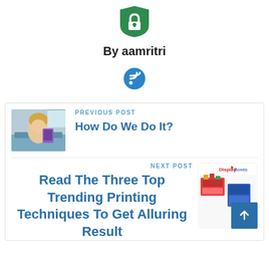[Figure (logo): Green shield/lock icon]
By aamritri
[Figure (logo): Blue RSS feed icon]
PREVIOUS POST
[Figure (photo): Woman reading a book on a sofa]
How Do We Do It?
NEXT POST
Read The Three Top Trending Printing Techniques To Get Alluring Result
[Figure (photo): Display Boxes product image with logo]